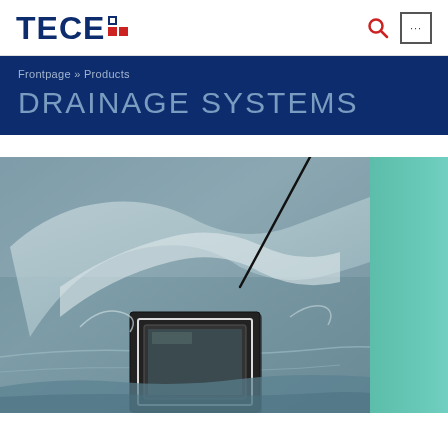TECE
Frontpage » Products
DRAINAGE SYSTEMS
[Figure (photo): Close-up photo of water splashing over a square floor drain/drainage grate on a wet surface. A teal/mint colored panel is visible on the right side of the image.]